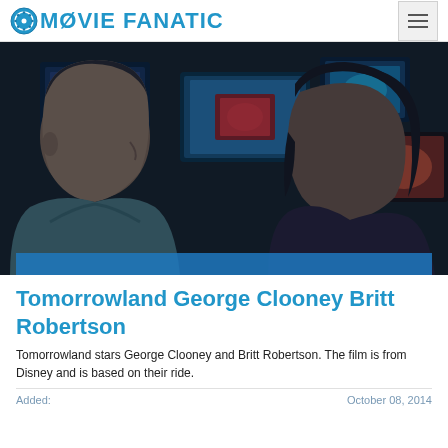MOVIE FANATIC
[Figure (photo): Movie still from Tomorrowland showing two actors facing each other with TV monitors in the background]
Tomorrowland George Clooney Britt Robertson
Tomorrowland stars George Clooney and Britt Robertson. The film is from Disney and is based on their ride.
Added: October 08, 2014